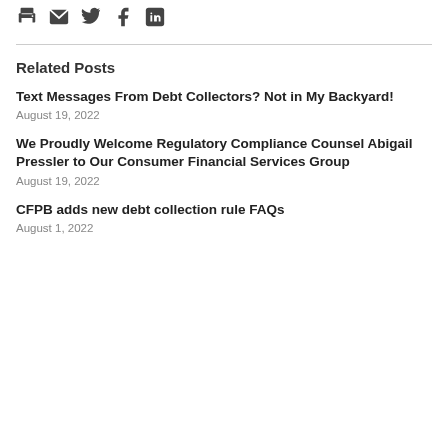[Figure (other): Social sharing icons: print, email, Twitter, Facebook, LinkedIn]
Related Posts
Text Messages From Debt Collectors? Not in My Backyard!
August 19, 2022
We Proudly Welcome Regulatory Compliance Counsel Abigail Pressler to Our Consumer Financial Services Group
August 19, 2022
CFPB adds new debt collection rule FAQs
August 1, 2022